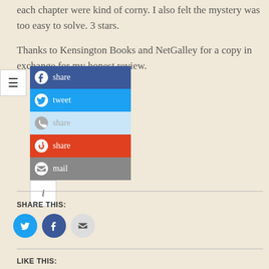each chapter were kind of corny. I also felt the mystery was too easy to solve. 3 stars.
Thanks to Kensington Books and NetGalley for a copy in exchange for my honest review.
[Figure (screenshot): Social share widget with buttons: Facebook share, Twitter tweet, WhatsApp share, StumbleUpon share, mail, and an info button]
SHARE THIS:
[Figure (infographic): Three circular social share buttons: Twitter (blue), Facebook (dark blue), Email (light grey)]
LIKE THIS: